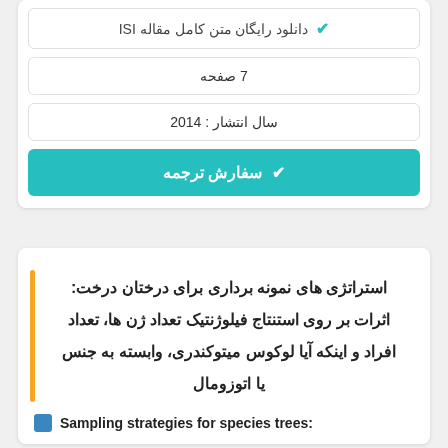✔ دانلود رایگان متن کامل مقاله ISI
7 صفحه
سال انتشار : 2014
✔ سفارش ترجمه
استراتژی های نمونه برداری برای درختان درخت: اثرات بر روی استنتاج فیلوژنتیک تعداد ژن ها، تعداد افراد و اینکه آیا لوکوس میتوکندری، وابسته به جنس یا اتوزومال
Sampling strategies for species trees: